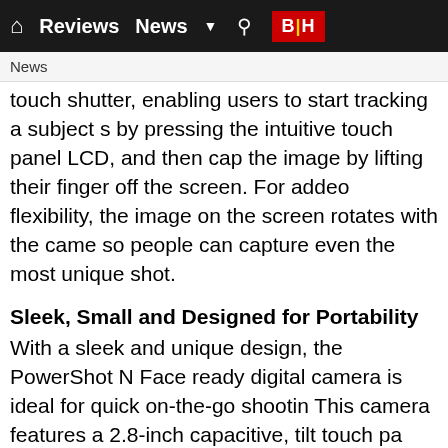🏠 Reviews  News ▼ 🔍 B|H
News
touch shutter, enabling users to start tracking a subject simply by pressing the intuitive touch panel LCD, and then capture the image by lifting their finger off the screen. For added flexibility, the image on the screen rotates with the camera, so people can capture even the most unique shot.
Sleek, Small and Designed for Portability
With a sleek and unique design, the PowerShot N Facebook ready digital camera is ideal for quick on-the-go shooting. This camera features a 2.8-inch capacitive, tilt touch panel LCD, which offers 90 degrees of tilt, encouraging users to capture images from a wide array of angles and positions effectively in virtually any location. The top-mounted hinge keeps the PowerShot N Facebook ready digital camera compact for convenient on-the-go shooting and easy, on